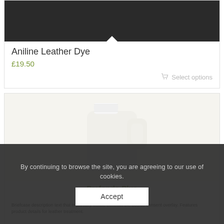[Figure (photo): Dark background product photo with a triangle/arrow indicator at the bottom pointing down into the product card]
Aniline Leather Dye
£19.50
Select options
[Figure (photo): White/cream plastic jug bottle of leather product on a light cream background]
Prefondo Plus
1 litre
Briefcase description text (partially obscured by cookie overlay)
By continuing to browse the site, you are agreeing to our use of cookies.
Accept